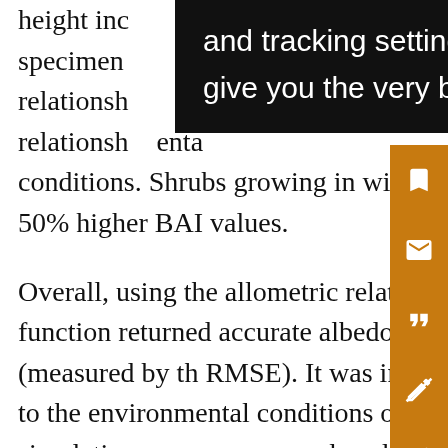height inc… specimen… relationship… relationship… environmental conditions. Shrubs growing in wind-exposed areas are sturdier and have 30%–50% higher BAI values.

Overall, using the allometric relationships and the new exposed-vegetation function returned accurate albedo simulations. Model accuracy was ~3% (measured by the RMSE). It was important to choose allometric equations adapted to the environmental conditions of the albedo measuring site, otherwise simulation accuracy was reduced by around 1%. The model tended to overestimate albedo by around 2%, probably due to the assumption of zero impurities in the snowpack or because the absorption
[Figure (other): Browser tooltip/popup overlay with black background showing text: 'and tracking settings to store information that help give you the very best browsing experience.']